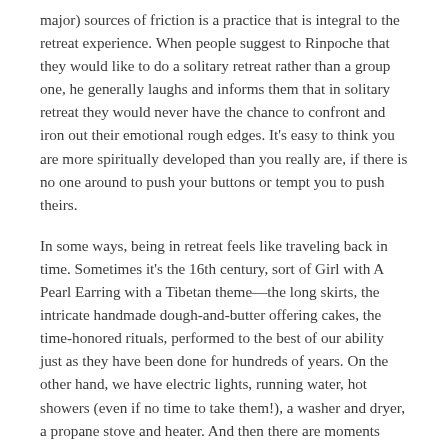major) sources of friction is a practice that is integral to the retreat experience. When people suggest to Rinpoche that they would like to do a solitary retreat rather than a group one, he generally laughs and informs them that in solitary retreat they would never have the chance to confront and iron out their emotional rough edges. It's easy to think you are more spiritually developed than you really are, if there is no one around to push your buttons or tempt you to push theirs.
In some ways, being in retreat feels like traveling back in time. Sometimes it's the 16th century, sort of Girl with A Pearl Earring with a Tibetan theme—the long skirts, the intricate handmade dough-and-butter offering cakes, the time-honored rituals, performed to the best of our ability just as they have been done for hundreds of years. On the other hand, we have electric lights, running water, hot showers (even if no time to take them!), a washer and dryer, a propane stove and heater. And then there are moments when you could swear you've been propelled into some alternative universe of the distant future. It's